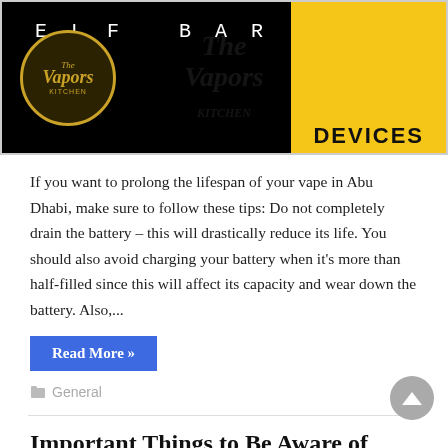[Figure (illustration): Banner image for The Vapors Kitchen featuring ELF BAR 800 text at top, logo circle on left, watermark logos in background, and yellow DEVICES box on right side]
If you want to prolong the lifespan of your vape in Abu Dhabi, make sure to follow these tips: Do not completely drain the battery – this will drastically reduce its life. You should also avoid charging your battery when it's more than half-filled since this will affect its capacity and wear down the battery. Also,...
Read More »
General
Important Things to Be Aware of About Acupuncture